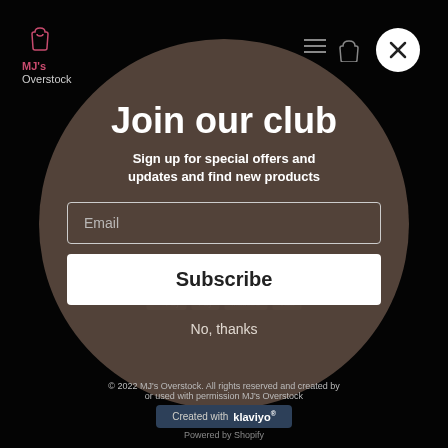[Figure (logo): MJ's Overstock logo with shopping bag icon in top-left corner]
Join our club
Sign up for special offers and updates and find new products
Email
Subscribe
No, thanks
© 2022 MJ's Overstock. All rights reserved and created by or used with permission MJ's Overstock
Created with klaviyo®
Powered by Shopify